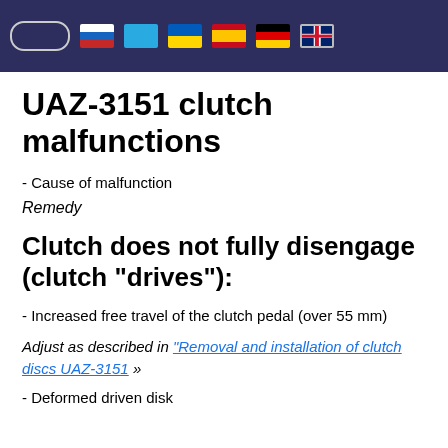Navigation bar with language flags: search box, Russian, Kazakh, Ukrainian, Spanish, German, English (selected)
UAZ-3151 clutch malfunctions
- Cause of malfunction
Remedy
Clutch does not fully disengage (clutch "drives"):
- Increased free travel of the clutch pedal (over 55 mm)
Adjust as described in "Removal and installation of clutch discs UAZ-3151" »
- Deformed driven disk